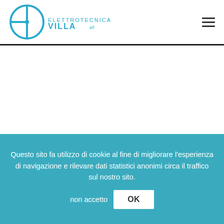Elettrotecnica VILLA srl — logo and navigation header
Questo sito fa utilizzo di cookie al fine di migliorare l'esperienza di navigazione e rilevare dati statistici anonimi circa il traffico sul nostro sito. non accetto  OK